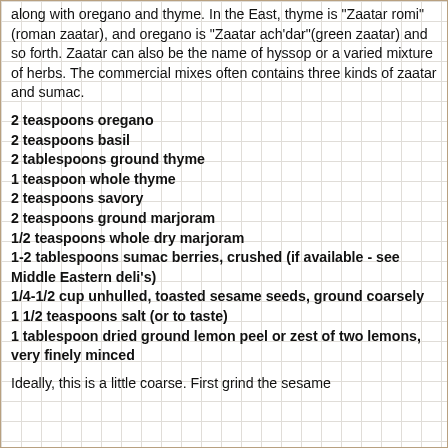along with oregano and thyme. In the East, thyme is "Zaatar romi"(roman zaatar), and oregano is "Zaatar ach'dar"(green zaatar) and so forth. Zaatar can also be the name of hyssop or a varied mixture of herbs. The commercial mixes often contains three kinds of zaatar and sumac.
2 teaspoons oregano
2 teaspoons basil
2 tablespoons ground thyme
1 teaspoon whole thyme
2 teaspoons savory
2 teaspoons ground marjoram
1/2 teaspoons whole dry marjoram
1-2 tablespoons sumac berries, crushed (if available - see Middle Eastern deli's)
1/4-1/2 cup unhulled, toasted sesame seeds, ground coarsely
1 1/2 teaspoons salt (or to taste)
1 tablespoon dried ground lemon peel or zest of two lemons, very finely minced
Ideally, this is a little coarse. First grind the sesame